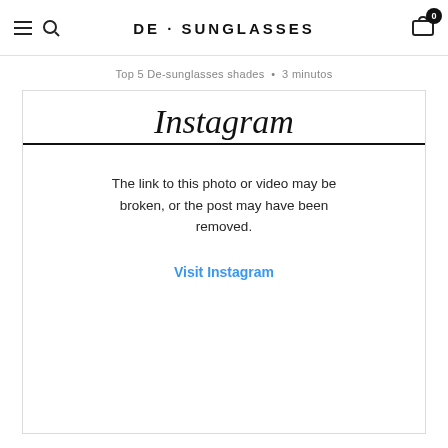DE · SUNGLASSES
Top 5 De-sunglasses shades • 3 minutos
[Figure (screenshot): Instagram embedded post placeholder showing broken link message: 'The link to this photo or video may be broken, or the post may have been removed.' with a 'Visit Instagram' link in blue.]